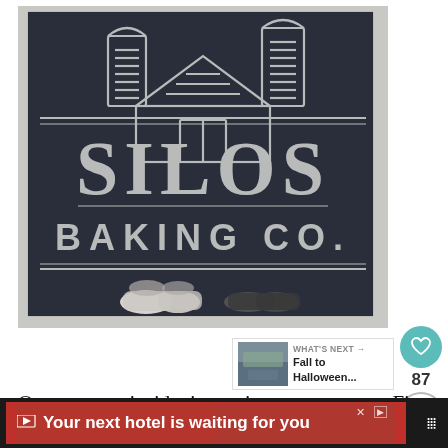[Figure (photo): Dark navy/black sign for Silos Baking Co. with white chalk-style lettering and a barn/silo illustration outline at top. Two pairs of shoes visible at the bottom of the sign.]
[Figure (illustration): Heart/like button (teal circle), count '87', and share button icons on the right sidebar]
[Figure (photo): What's Next thumbnail showing 'Fall to Halloween...' with a small landscape photo]
Once we got inside, it was just as cute as on Fixer Upper when Chip and Joanna revealed the
[Figure (other): Advertisement banner: 'Your next hotel is waiting for you' in red box on dark background]